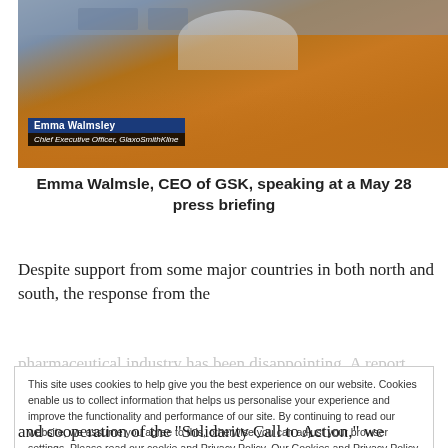[Figure (screenshot): Video screenshot of Emma Walmsley, CEO of GlaxoSmithKline, wearing an orange top, with a name tag overlay reading 'Emma Walmsley / Chief Executive Officer, GlaxoSmithKline']
Emma Walmsle, CEO of GSK, speaking at a May 28 press briefing
Despite support from some major countries in both north and south, the response from the
This site uses cookies to help give you the best experience on our website. Cookies enable us to collect information that helps us personalise your experience and improve the functionality and performance of our site. By continuing to read our website, we assume you agree to this, otherwise you can adjust your browser settings. Please read our cookie and Privacy Policy. Our Cookies and Privacy Policy
and cooperation of the "Solidarity Call to Action," we